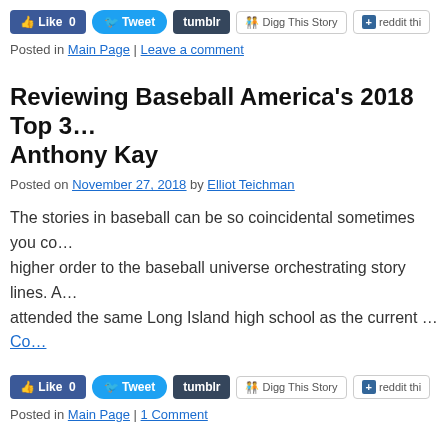[Figure (screenshot): Social sharing buttons: Like 0, Tweet, tumblr, Digg This Story, reddit thi]
Posted in Main Page | Leave a comment
Reviewing Baseball America's 2018 Top 3… Anthony Kay
Posted on November 27, 2018 by Elliot Teichman
The stories in baseball can be so coincidental sometimes you co… higher order to the baseball universe orchestrating story lines. A… attended the same Long Island high school as the current … Co…
[Figure (screenshot): Social sharing buttons: Like 0, Tweet, tumblr, Digg This Story, reddit thi]
Posted in Main Page | 1 Comment
Reviewing Baseball America's 2018 Top 3… Jordan Humphreys
Posted on November 26, 2018 by Elliot Teichman